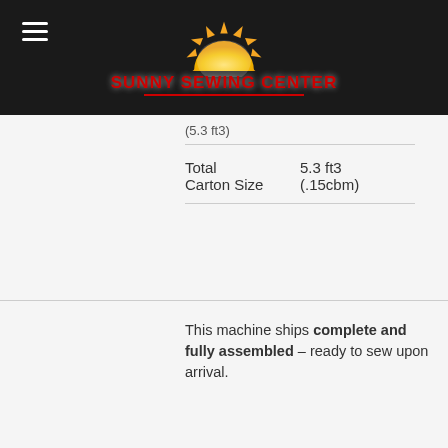[Figure (logo): Sunny Sewing Center logo: sun graphic above red text on black header bar]
(5.3 ft3)
| Total Carton Size | 5.3 ft3 (.15cbm) |
This machine ships complete and fully assembled – ready to sew upon arrival.
It includes:
Machine Head
Table Top
MACHINE